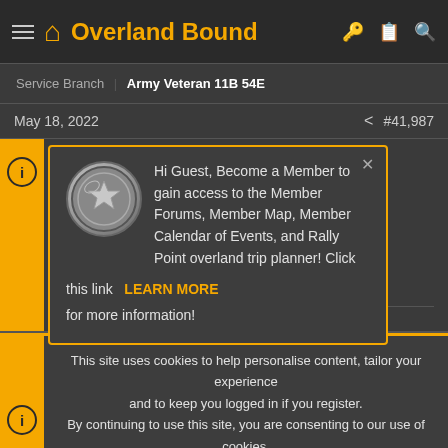Overland Bound
Service Branch  Army Veteran 11B 54E
May 18, 2022  #41,987
[Figure (screenshot): Popup modal overlay with Overland Bound coin logo, text: Hi Guest, Become a Member to gain access to the Member Forums, Member Map, Member Calendar of Events, and Rally Point overland trip planner! Click this link LEARN MORE for more information!]
sists of.
This site uses cookies to help personalise content, tailor your experience and to keep you logged in if you register. By continuing to use this site, you are consenting to our use of cookies.
ACCEPT   LEARN MORE...